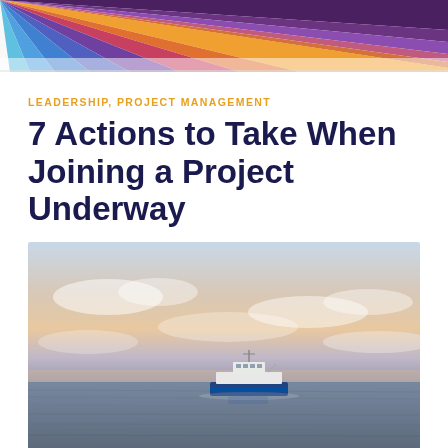LEADERSHIP, PROJECT MANAGEMENT
7 Actions to Take When Joining a Project Underway
[Figure (photo): A blue and white supply vessel or research ship sailing on a calm open sea under a dramatic sky with soft pastel clouds at dusk or dawn.]